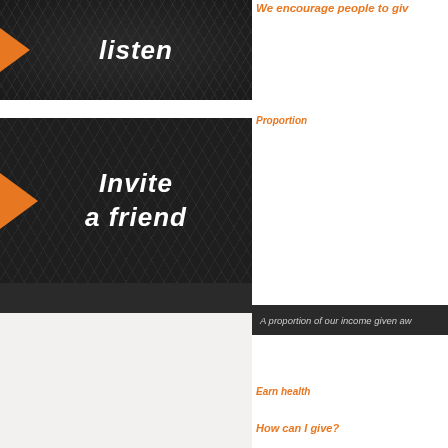[Figure (infographic): Dark hexagonal-pattern background panel with orange arrow and white bold italic text 'listen']
[Figure (infographic): Dark hexagonal-pattern background panel with orange arrow and white bold italic text 'Invite a friend']
We encourage people to give
A proportion of our income given away
Proportion
In proportion and out of our
Earn health
In the end, the community
In giving, a proportion
through not to
How can I give?